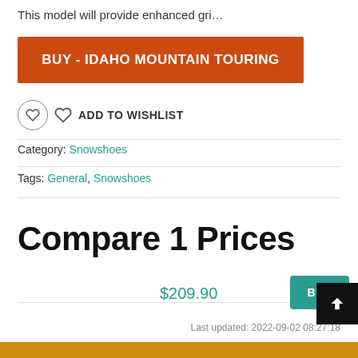This model will provide enhanced gri…
BUY - IDAHO MOUNTAIN TOURING
ADD TO WISHLIST
Category: Snowshoes
Tags: General, Snowshoes
Compare 1 Prices
$209.90
BUY
Last updated: 2022-09-02 08:27:18